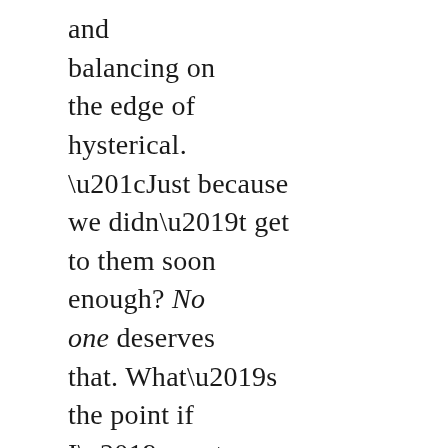and balancing on the edge of hysterical. “Just because we didn’t get to them soon enough? No one deserves that. What’s the point if I’m not strong enough to save them all,